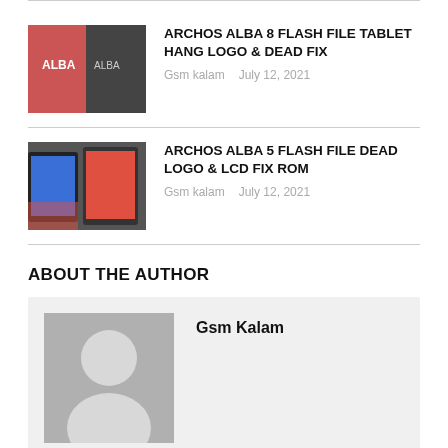ARCHOS ALBA 8 FLASH FILE TABLET HANG LOGO & DEAD FIX — Gsm kalam July 12, 2021
ARCHOS ALBA 5 FLASH FILE DEAD LOGO & LCD FIX ROM — Gsm kalam July 12, 2021
ABOUT THE AUTHOR
Gsm Kalam
LEAVE A REPLY